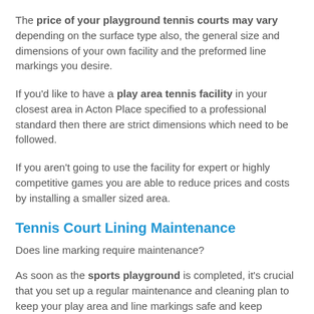The price of your playground tennis courts may vary depending on the surface type also, the general size and dimensions of your own facility and the preformed line markings you desire.
If you'd like to have a play area tennis facility in your closest area in Acton Place specified to a professional standard then there are strict dimensions which need to be followed.
If you aren't going to use the facility for expert or highly competitive games you are able to reduce prices and costs by installing a smaller sized area.
Tennis Court Lining Maintenance
Does line marking require maintenance?
As soon as the sports playground is completed, it's crucial that you set up a regular maintenance and cleaning plan to keep your play area and line markings safe and keep effective playing qualities.